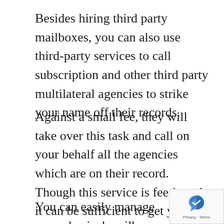Besides hiring third party mailboxes, you can also use third-party services to call subscription and other third party multilateral agencies to strike your name off their records.
Against a small fee, they will take over this task and call on your behalf all the agencies which are on their record. Though this service is fee-based, it can be sufficient to get you off the grid.
You can easily manage your physical mailboxes, and above are some of the options available to you. Some are paid, but with